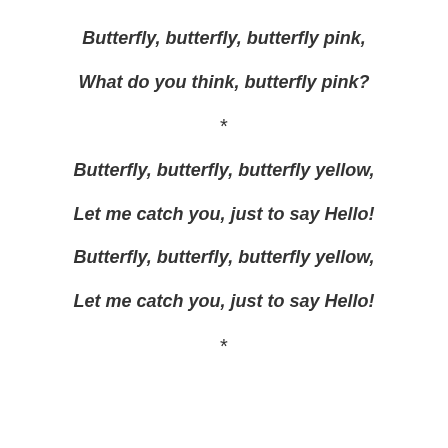Butterfly, butterfly, butterfly pink,
What do you think, butterfly pink?
*
Butterfly, butterfly, butterfly yellow,
Let me catch you, just to say Hello!
Butterfly, butterfly, butterfly yellow,
Let me catch you, just to say Hello!
*